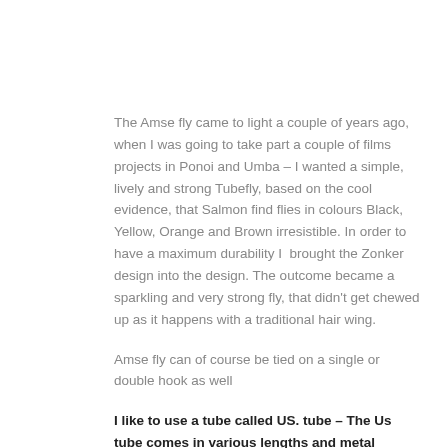The Amse fly came to light a couple of years ago, when I was going to take part a couple of films projects in Ponoi and Umba – I wanted a simple, lively and strong Tubefly, based on the cool evidence, that Salmon find flies in colours Black, Yellow, Orange and Brown irresistible. In order to have a maximum durability I  brought the Zonker design into the design. The outcome became a sparkling and very strong fly, that didn't get chewed up as it happens with a traditional hair wing.
Amse fly can of course be tied on a single or double hook as well
I like to use a tube called US. tube – The Us tube comes in various lengths and metal colours, but I prefer the 10...